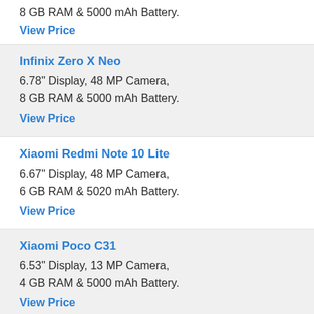8 GB RAM & 5000 mAh Battery.
View Price
Infinix Zero X Neo
6.78" Display, 48 MP Camera,
8 GB RAM & 5000 mAh Battery.
View Price
Xiaomi Redmi Note 10 Lite
6.67" Display, 48 MP Camera,
6 GB RAM & 5020 mAh Battery.
View Price
Xiaomi Poco C31
6.53" Display, 13 MP Camera,
4 GB RAM & 5000 mAh Battery.
View Price
Xiaomi Redmi Note 10 4G